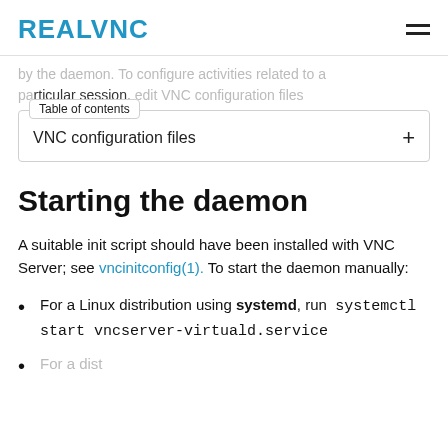RealVNC
by the daemon. To configure activities related to a particular session, edit VNC configuration files
Table of contents
VNC configuration files +
Starting the daemon
A suitable init script should have been installed with VNC Server; see vncinitconfig(1). To start the daemon manually:
For a Linux distribution using systemd, run systemctl start vncserver-virtuald.service